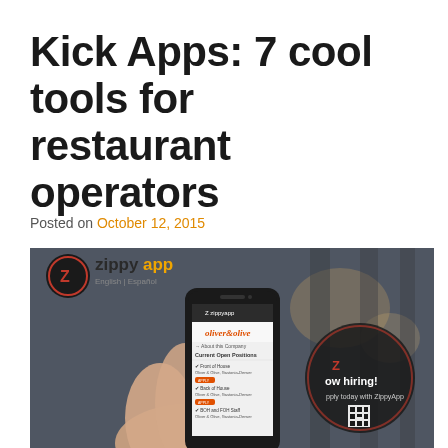Kick Apps: 7 cool tools for restaurant operators
Posted on October 12, 2015
[Figure (photo): Hand holding a smartphone showing the ZippyApp job application interface with 'oliver & olive' restaurant listing, 'now hiring!' sign visible on glass window in background, ZippyApp logo with 'English | Español' in top left]